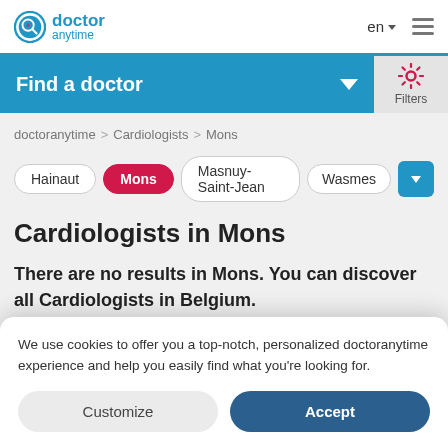doctor anytime | en | menu
Find a doctor
doctoranytime > Cardiologists > Mons
Hainaut
Mons
Masnuy-Saint-Jean
Wasmes
Cardiologists in Mons
There are no results in Mons. You can discover all Cardiologists in Belgium.
We use cookies to offer you a top-notch, personalized doctoranytime experience and help you easily find what you're looking for.
Customize  Accept